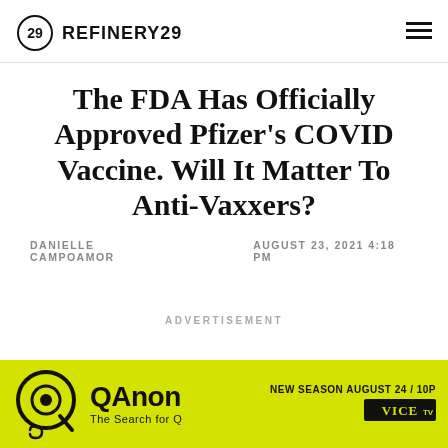REFINERY29
The FDA Has Officially Approved Pfizer’s COVID Vaccine. Will It Matter To Anti-Vaxxers?
DANIELLE CAMPOAMOR   AUGUST 23, 2021 4:18 PM
ADVERTISEMENT
[Figure (screenshot): QAnon The Search for Q advertisement banner with yellow-green background, QAnon logo on left, title text, and VICE TV logo on right. Text reads: NEW SEASON AUGUST 24 / 10P]